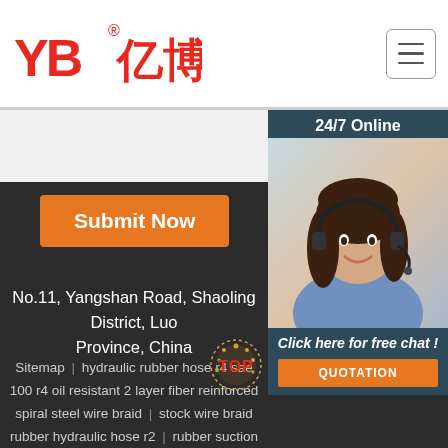[Figure (logo): YB亿博 company logo in red with registered trademark symbol]
[Figure (photo): Customer service representative woman wearing headset, smiling, with '24/7 Online' banner and 'Click here for free chat!' text and QUOTATION button]
Submit Now
No.11, Yangshan Road, Shaoling District, Luohe Province, China
Sitemap | hydraulic rubber hose r4 sae 100 r4 oil resistant 2 layer fiber reinforced spiral steel wire braid | stock wire braid rubber hydraulic hose r2 | rubber suction hose extrusion line